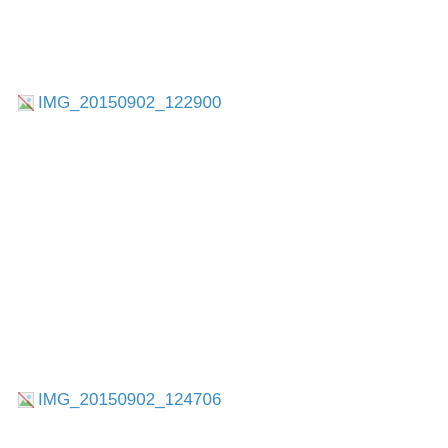[Figure (photo): Broken image placeholder for IMG_20150902_122900]
[Figure (photo): Broken image placeholder for IMG_20150902_124706]